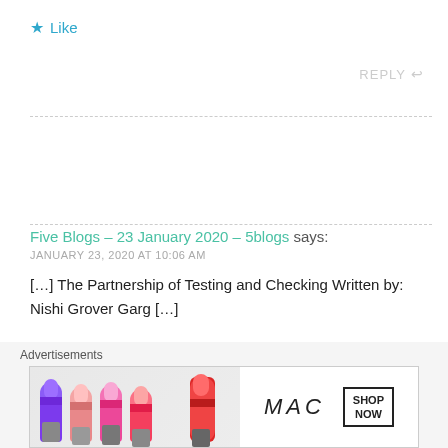★ Like
REPLY ↩
Five Blogs – 23 January 2020 – 5blogs says:
JANUARY 23, 2020 AT 10:06 AM
[…] The Partnership of Testing and Checking Written by: Nishi Grover Garg […]
[Figure (photo): MAC cosmetics advertisement banner showing colorful lipstick tubes with MAC logo and SHOP NOW call to action box]
Advertisements